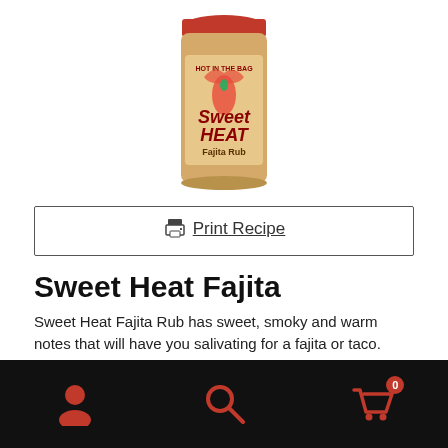[Figure (photo): A jar of Sweet Heat Fajita Rub with a red lid and orange label showing a chili pepper logo and stylized text reading 'Sweet Heat Fajita Rub']
Print Recipe
Sweet Heat Fajita
Sweet Heat Fajita Rub has sweet, smoky and warm notes that will have you salivating for a fajita or taco.  The full flavor marries well with a multitude of applications.  This product may have become by accident, but it is a favorite of anyone looking for that authentic fajita flavor.
Navigation bar with user, search, and cart (0) icons